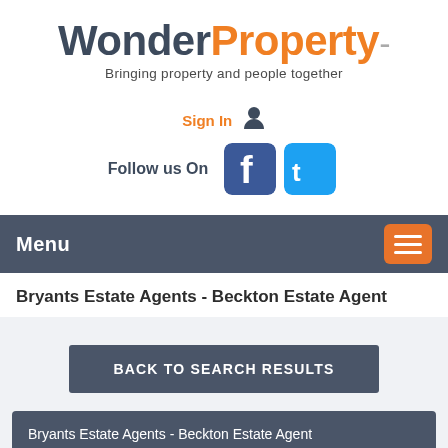[Figure (logo): WonderProperty logo with tagline 'Bringing property and people together'. 'Wonder' in dark slate, 'Property' in orange, dash in gray.]
Sign In (with user icon)
Follow us On (with Facebook and Twitter icons)
Menu
Bryants Estate Agents - Beckton Estate Agent
BACK TO SEARCH RESULTS
Bryants Estate Agents - Beckton Estate Agent